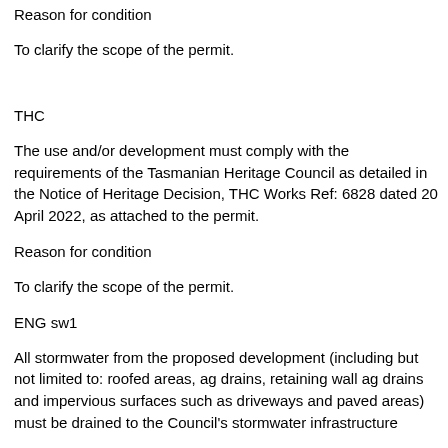Reason for condition
To clarify the scope of the permit.
THC
The use and/or development must comply with the requirements of the Tasmanian Heritage Council as detailed in the Notice of Heritage Decision, THC Works Ref: 6828 dated 20 April 2022, as attached to the permit.
Reason for condition
To clarify the scope of the permit.
ENG sw1
All stormwater from the proposed development (including but not limited to: roofed areas, ag drains, retaining wall ag drains and impervious surfaces such as driveways and paved areas) must be drained to the Council's stormwater infrastructure